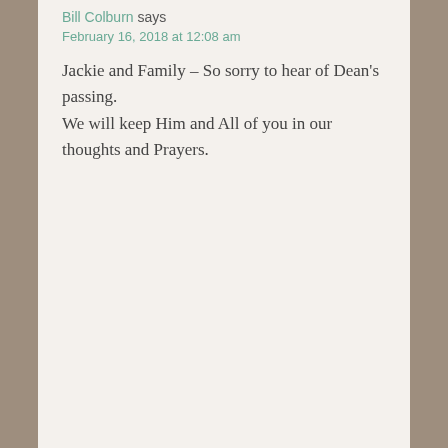Bill Colburn says
February 16, 2018 at 12:08 am

Jackie and Family – So sorry to hear of Dean's passing.
We will keep Him and All of you in our thoughts and Prayers.
Cecil Blaisdell says
February 16, 2018 at 9:19 am

Jackie, it was a real shock to hear of Dean's death, and I'm really sorry to think of the grief that is yours. I knew him to be a good man and that he loved you dearly.